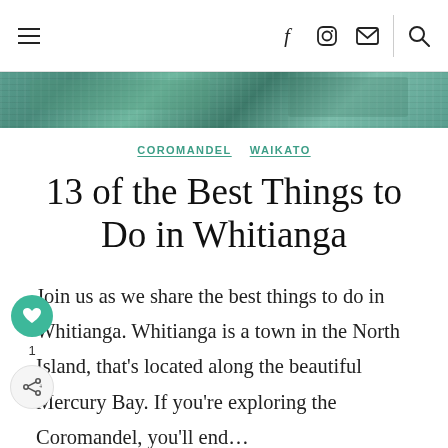≡  f  [instagram]  [mail]  |  [search]
[Figure (photo): Partial hero image strip showing a greenish/teal aerial or landscape photo]
COROMANDEL   WAIKATO
13 of the Best Things to Do in Whitianga
Join us as we share the best things to do in Whitianga. Whitianga is a town in the North Island, that's located along the beautiful Mercury Bay. If you're exploring the Coromandel, you'll end...